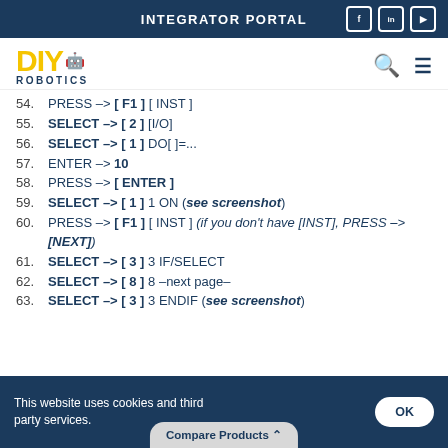INTEGRATOR PORTAL
[Figure (logo): DIY Robotics logo with yellow DIY text and robot arm, ROBOTICS subtitle in dark blue]
54. PRESS --> [ F1 ] [ INST ]
55. SELECT --> [ 2 ] [I/O]
56. SELECT --> [ 1 ] DO[ ]=...
57. ENTER --> 10
58. PRESS --> [ ENTER ]
59. SELECT --> [ 1 ] 1 ON (see screenshot)
60. PRESS --> [ F1 ] [ INST ] (if you don't have [INST], PRESS --> [NEXT])
61. SELECT --> [ 3 ] 3 IF/SELECT
62. SELECT --> [ 8 ] 8 –next page–
63. SELECT --> [ 3 ] 3 ENDIF (see screenshot)
This website uses cookies and third party services. OK  Compare Products